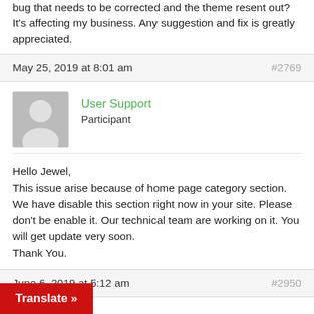bug that needs to be corrected and the theme resent out? It's affecting my business. Any suggestion and fix is greatly appreciated.
May 25, 2019 at 8:01 am  #2769
User Support
Participant
Hello Jewel,
This issue arise because of home page category section. We have disable this section right now in your site. Please don't be enable it. Our technical team are working on it. You will get update very soon.
Thank You.
June 6, 2019 at 5:12 am  #2950
i.niravparekh
Participant
Translate »